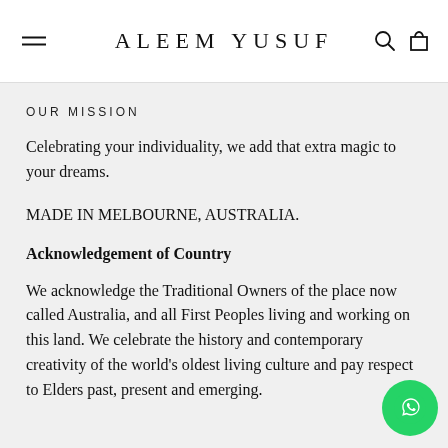ALEEM YUSUF
OUR MISSION
Celebrating your individuality, we add that extra magic to your dreams.
MADE IN MELBOURNE, AUSTRALIA.
Acknowledgement of Country
We acknowledge the Traditional Owners of the place now called Australia, and all First Peoples living and working on this land. We celebrate the history and contemporary creativity of the world's oldest living culture and pay respect to Elders past, present and emerging.